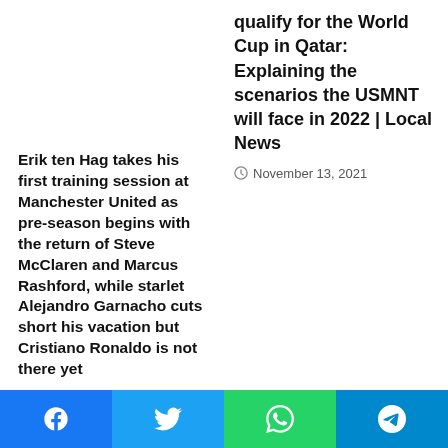qualify for the World Cup in Qatar: Explaining the scenarios the USMNT will face in 2022 | Local News
November 13, 2021
Erik ten Hag takes his first training session at Manchester United as pre-season begins with the return of Steve McClaren and Marcus Rashford, while starlet Alejandro Garnacho cuts short his vacation but Cristiano Ronaldo is not there yet
June 28, 2022